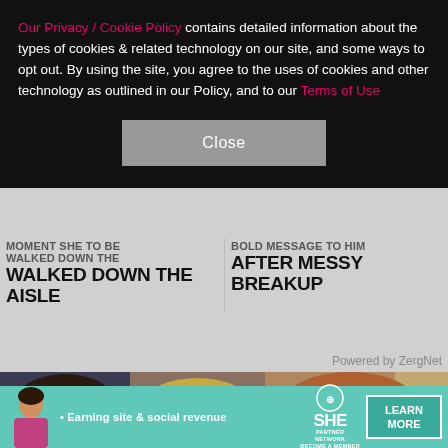Our Privacy / Cookie Policy contains detailed information about the types of cookies & related technology on our site, and some ways to opt out. By using the site, you agree to the uses of cookies and other technology as outlined in our Policy, and to our Terms of Use
Close
WALKED DOWN THE AISLE
AFTER MESSY BREAKUP
Powered by ZergNet
[Figure (photo): Two celebrity faces side by side: a man with beard on the left, a woman smiling with hoop earrings on the right]
[Figure (photo): A smiling man with long reddish-brown hair]
[Figure (infographic): Advertisement banner: SHE Media Partner Network - Earning site & social revenue - LEARN MORE - BECOME A MEMBER]